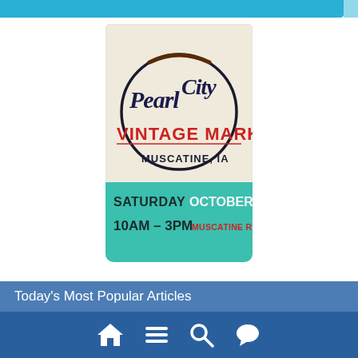[Figure (illustration): Pearl City Vintage Market advertisement. Logo with 'Pearl City' in dark navy cursive script, 'VINTAGE MARKET' in large red block letters, 'MUSCATINE, IA' in dark text, all inside a circular design on a cream background. Bottom teal/green banner reads 'SATURDAY OCTOBER 8, 2022 / 10AM - 3PM MUSCATINE RIVERFRONT']
Today's Most Popular Articles